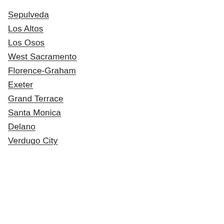Sepulveda
Los Altos
Los Osos
West Sacramento
Florence-Graham
Exeter
Grand Terrace
Santa Monica
Delano
Verdugo City